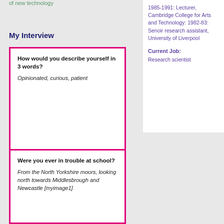of new technology
1985-1991: Lecturer, Cambridge College for Arts and Technology: 1982-83: Senoir research assistant, University of Liverpool
My Interview
Current Job:
Research scientist
How would you describe yourself in 3 words?

Opinionated, curious, patient
Were you ever in trouble at school?

From the North Yorkshire moors, looking north towards Middlesbrough and Newcastle [myimage1]